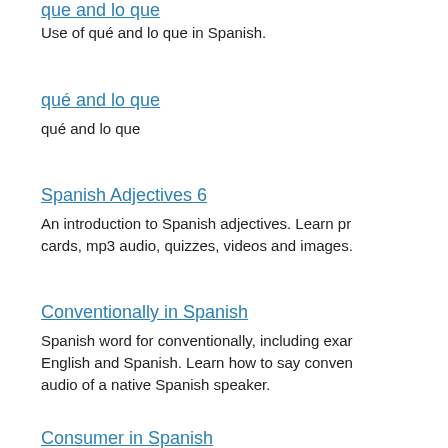que and lo que (link, truncated at top)
Use of qué and lo que in Spanish.
qué and lo que (link)
qué and lo que
Spanish Adjectives 6 (link)
An introduction to Spanish adjectives. Learn pr... cards, mp3 audio, quizzes, videos and images.
Conventionally in Spanish (link)
Spanish word for conventionally, including exam... English and Spanish. Learn how to say conven... audio of a native Spanish speaker.
Consumer in Spanish (link, truncated at bottom)